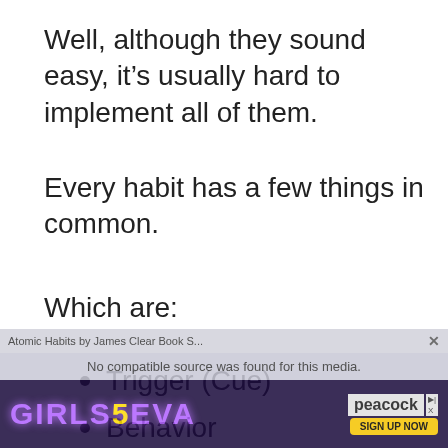Well, although they sound easy, it’s usually hard to implement all of them.
Every habit has a few things in common.
Which are:
Trigger (Cue)
Behavior
Craving
[Figure (screenshot): Advertisement overlay at the bottom: a video player notification 'Atomic Habits by James Clear Book S...' with 'No compatible source was found for this media', and a Girls5Eva Peacock streaming ad banner with 'SIGN UP NOW' button.]